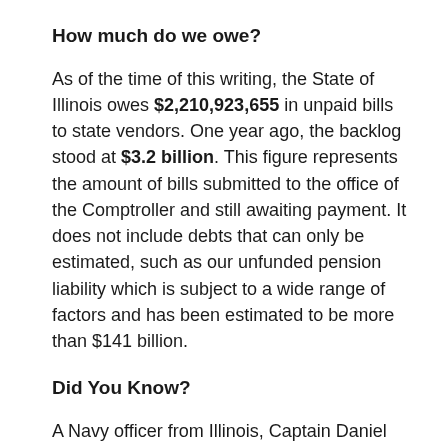How much do we owe?
As of the time of this writing, the State of Illinois owes $2,210,923,655 in unpaid bills to state vendors. One year ago, the backlog stood at $3.2 billion. This figure represents the amount of bills submitted to the office of the Comptroller and still awaiting payment. It does not include debts that can only be estimated, such as our unfunded pension liability which is subject to a wide range of factors and has been estimated to be more than $141 billion.
Did You Know?
A Navy officer from Illinois, Captain Daniel Vincent Gallery, led the operation which captured the German submarine U-505, also capturing a code machine which helped turn the tide of World War II in the Atlantic. The submarine he helped capture on